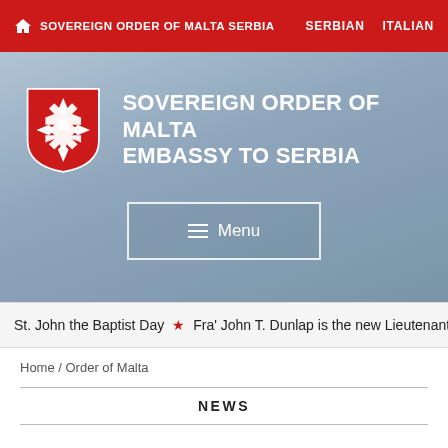SOVEREIGN ORDER OF MALTA SERBIA   SERBIAN   ITALIAN
[Figure (logo): Sovereign Order of Malta Embassy to Serbia header banner with red Maltese cross shield logo and title text, with a Menu button]
St. John the Baptist Day ★ Fra' John T. Dunlap is the new Lieutenant o
Home / Order of Malta
NEWS
Most of the work is completed outside of the new Embassy